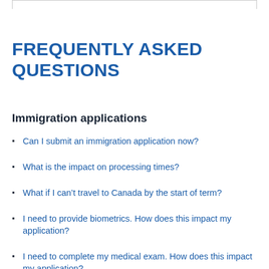FREQUENTLY ASKED QUESTIONS
Immigration applications
Can I submit an immigration application now?
What is the impact on processing times?
What if I can’t travel to Canada by the start of term?
I need to provide biometrics. How does this impact my application?
I need to complete my medical exam. How does this impact my application?